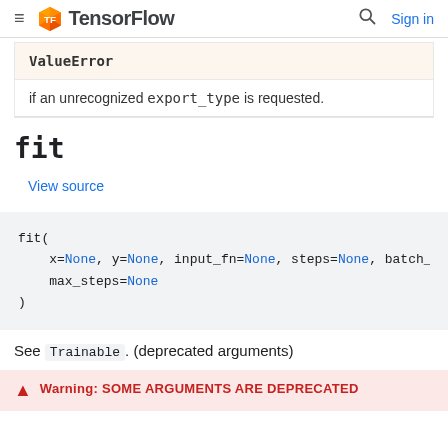≡ TensorFlow  🔍 Sign in
| ValueError |
| --- |
| if an unrecognized export_type is requested. |
fit
View source
fit(
    x=None, y=None, input_fn=None, steps=None, batch_s
    max_steps=None
)
See Trainable. (deprecated arguments)
Warning SOME ARGUMENTS ARE DEPRECATED